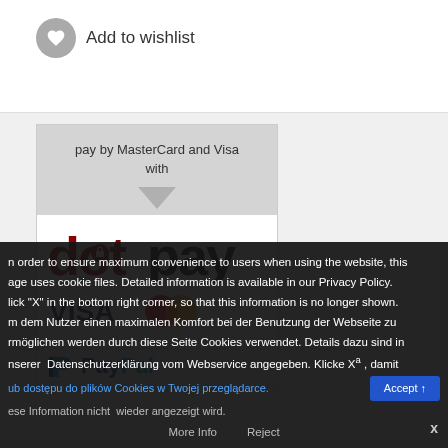[Figure (other): Add to wishlist button with heart icon]
[Figure (other): Payment widget showing dotpay logo with 'pay by MasterCard and Visa with' header, Visa/MasterCard logos, and PayPal logo]
In order to ensure maximum convenience to users when using the website, this page uses cookie files. Detailed information is available in our Privacy Policy. Click "X" in the bottom right corner, so that this information is no longer shown. Um dem Nutzer einen maximalen Komfort bei der Benutzung der Webseite zu ermöglichen werden durch diese Seite Cookies verwendet. Details dazu sind in unserer Datenschutzerklärung vom Webservice angegeben. Klicke X, damit diese Information nicht wieder angezeigt wird.
lub dostępu do plików Cookies w Twojej przeglądarce.
More Info   Reject